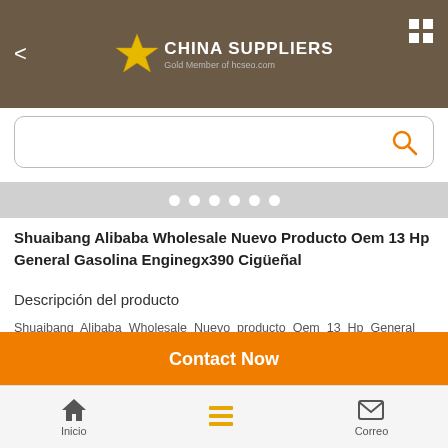CHINA SUPPLIERS — Gold Member of hcseo.com
[Figure (screenshot): Search bar with orange magnifying glass icon]
[Figure (other): Carousel dot indicators — 6 white dots on grey background]
Shuaibang Alibaba Wholesale Nuevo Producto Oem 13 Hp General Gasolina Enginegx390 Cigüeñal
Descripción del producto
Shuaibang Alibaba Wholesale Nuevo producto Oem 13 Hp General Gasoline Enginegx390 Crankshaft \ n \n\n
| Series | Model | Type | Mainly u |
| --- | --- | --- | --- |
Contact Now
Inicio  Correo